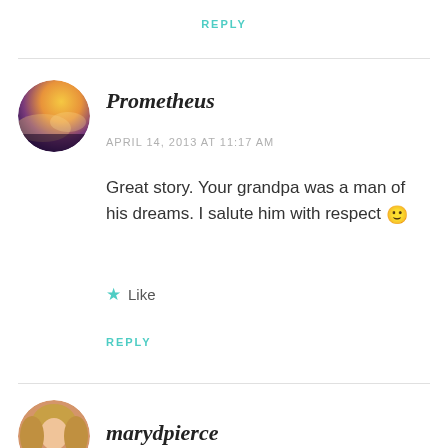REPLY
[Figure (photo): Avatar for Prometheus: circular profile photo with warm golden/purple cloudy sky tones]
Prometheus
APRIL 14, 2013 AT 11:17 AM
Great story. Your grandpa was a man of his dreams. I salute him with respect 🙂
★ Like
REPLY
[Figure (photo): Avatar for marydpierce: circular profile photo of a blonde woman]
marydpierce